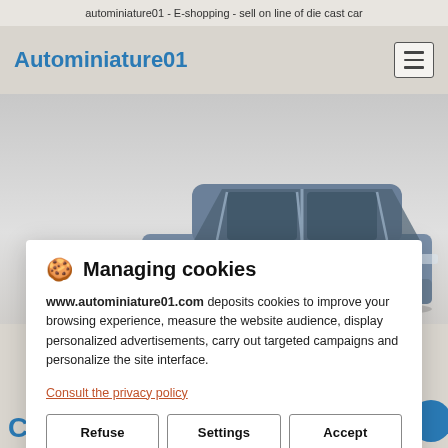autominiature01 - E-shopping - sell on line of die cast car
Autominiature01
[Figure (photo): Die cast model car, blue-grey sedan, viewed from above-rear angle, on white/grey background]
🍪 Managing cookies
www.autominiature01.com deposits cookies to improve your browsing experience, measure the website audience, display personalized advertisements, carry out targeted campaigns and personalize the site interface.
Consult the privacy policy
Refuse   Settings   Accept
Let us your contact information and then, we call you back.